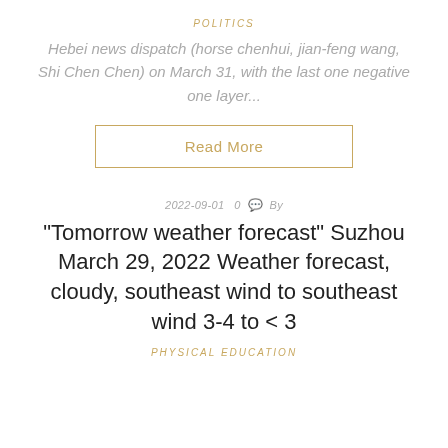POLITICS
Hebei news dispatch (horse chenhui, jian-feng wang, Shi Chen Chen) on March 31, with the last one negative one layer...
Read More
2022-09-01  0  By
“Tomorrow weather forecast” Suzhou March 29, 2022 Weather forecast, cloudy, southeast wind to southeast wind 3-4 to < 3
PHYSICAL EDUCATION